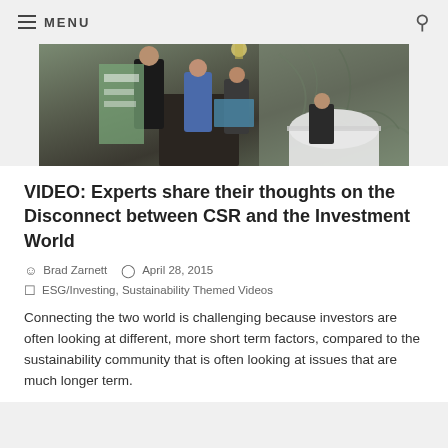MENU
[Figure (photo): Conference panel event photo showing speakers at a podium and a round table, in a meeting room setting.]
VIDEO: Experts share their thoughts on the Disconnect between CSR and the Investment World
Brad Zarnett   April 28, 2015
ESG/Investing, Sustainability Themed Videos
Connecting the two world is challenging because investors are often looking at different, more short term factors, compared to the sustainability community that is often looking at issues that are much longer term.